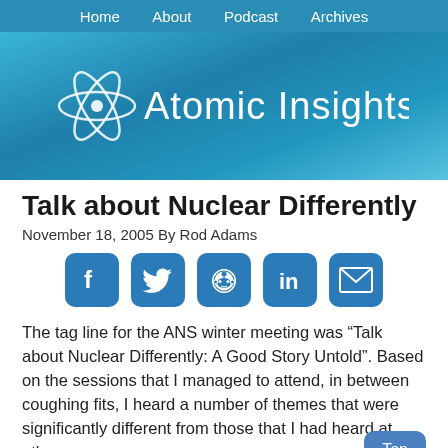Home   About   Podcast   Archives
[Figure (logo): Atomic Insights logo with atom symbol and text 'Atomic Insights' on blue gradient background]
Talk about Nuclear Differently
November 18, 2005 By Rod Adams
[Figure (infographic): Social media share buttons: Facebook, Twitter, Reddit, LinkedIn, Email]
The tag line for the ANS winter meeting was “Talk about Nuclear Differently: A Good Story Untold”. Based on the sessions that I managed to attend, in between coughing fits, I heard a number of themes that were significantly different from those that I had heard at other